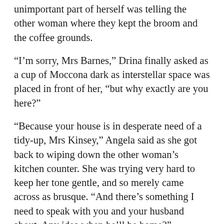unimportant part of herself was telling the other woman where they kept the broom and the coffee grounds.
“I’m sorry, Mrs Barnes,” Drina finally asked as a cup of Moccona dark as interstellar space was placed in front of her, “but why exactly are you here?”
“Because your house is in desperate need of a tidy-up, Mrs Kinsey,” Angela said as she got back to wiping down the other woman’s kitchen counter. She was trying very hard to keep her tone gentle, and so merely came across as brusque. “And there’s something I need to speak with you and your husband about. Any idea when he’ll be home?”
Drina shrugged. “Not really. Jack’s been working late a lot.” Or drowning our daughter at the Harvey Hotel, she silently added, not altogether bitterly. God knows she wished she was allowed inside the pub right then. “What is it you want to say? If it’s worth coming over and doing my dishes, surely